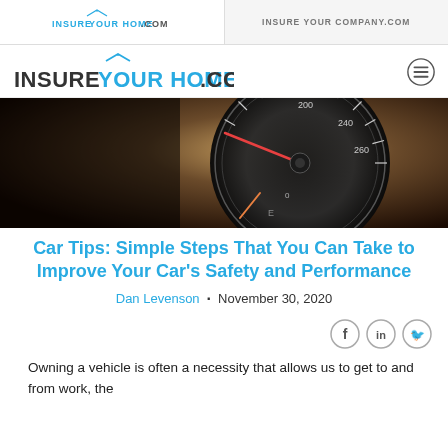INSURE YOUR HOME.COM | INSURE YOUR COMPANY.COM
[Figure (logo): InsureYourHome.com logo with roof icon and hamburger menu]
[Figure (photo): Close-up photograph of a car speedometer/dashboard gauge]
Car Tips: Simple Steps That You Can Take to Improve Your Car's Safety and Performance
Dan Levenson · November 30, 2020
[Figure (infographic): Social share icons: Facebook, LinkedIn, Twitter]
Owning a vehicle is often a necessity that allows us to get to and from work, the